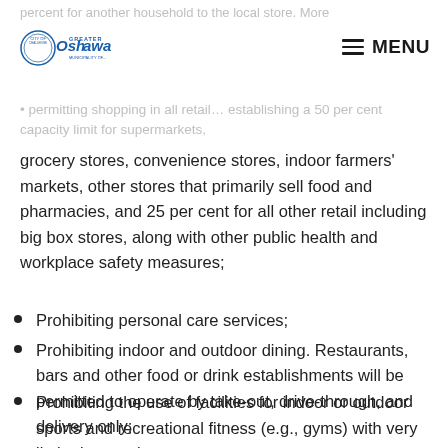percent for another household to the local store. More
Greater Oshawa — MENU
permitting shopping in all retail… establishing a 50 per cent capacity limit for supermarkets,
grocery stores, convenience stores, indoor farmers' markets, other stores that primarily sell food and pharmacies, and 25 per cent for all other retail including big box stores, along with other public health and workplace safety measures;
Prohibiting personal care services;
Prohibiting indoor and outdoor dining. Restaurants, bars and other food or drink establishments will be permitted to operate by take-out, drive-through, and delivery only;
Prohibiting the use of facilities for indoor or outdoor sports and recreational fitness (e.g., gyms) with very limited exceptions;